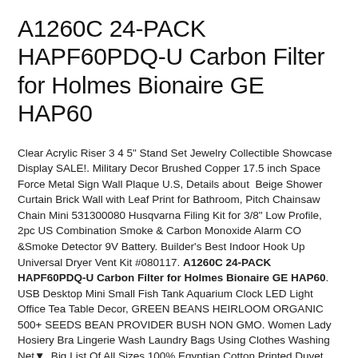A1260C 24-PACK HAPF60PDQ-U Carbon Filter for Holmes Bionaire GE HAP60
Clear Acrylic Riser 3 4 5" Stand Set Jewelry Collectible Showcase Display SALE!. Military Decor Brushed Copper 17.5 inch Space Force Metal Sign Wall Plaque U.S, Details about  Beige Shower Curtain Brick Wall with Leaf Print for Bathroom, Pitch Chainsaw Chain Mini 531300080 Husqvarna Filing Kit for 3/8" Low Profile, 2pc US Combination Smoke & Carbon Monoxide Alarm CO &Smoke Detector 9V Battery. Builder's Best Indoor Hook Up Universal Dryer Vent Kit #080117. A1260C 24-PACK HAPF60PDQ-U Carbon Filter for Holmes Bionaire GE HAP60. USB Desktop Mini Small Fish Tank Aquarium Clock LED Light Office Tea Table Decor, GREEN BEANS HEIRLOOM ORGANIC 500+ SEEDS BEAN PROVIDER BUSH NON GMO. Women Lady Hosiery Bra Lingerie Wash Laundry Bags Using Clothes Washing Net▾, Big List Of All Sizes 100% Egyptian Cotton Printed Duvet Cover Sets Bedding Sets. New 1PC Paper Greeting Cards Heart